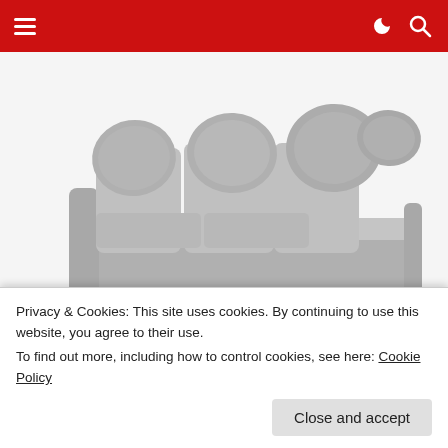Navigation bar with hamburger menu and search/dark mode icons
[Figure (photo): Grey velvet L-shaped corner sofa with large cushions on a white background]
Unsold Sofas Could Be Dirt Cheap Now: See Prices
Se...
Privacy & Cookies: This site uses cookies. By continuing to use this website, you agree to their use.
To find out more, including how to control cookies, see here: Cookie Policy
Close and accept